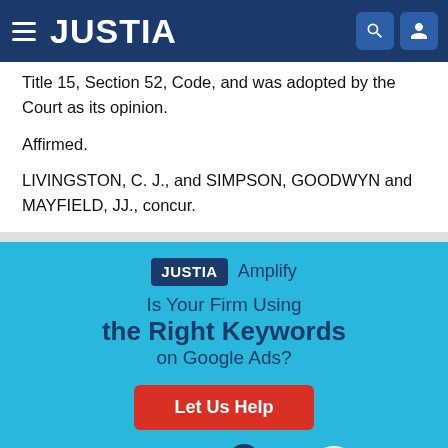JUSTIA
Title 15, Section 52, Code, and was adopted by the Court as its opinion.
Affirmed.
LIVINGSTON, C. J., and SIMPSON, GOODWYN and MAYFIELD, JJ., concur.
[Figure (screenshot): Justia Amplify advertisement: 'Is Your Firm Using the Right Keywords on Google Ads?' with a red 'Let Us Help' button and decorative question mark bubbles at the bottom.]